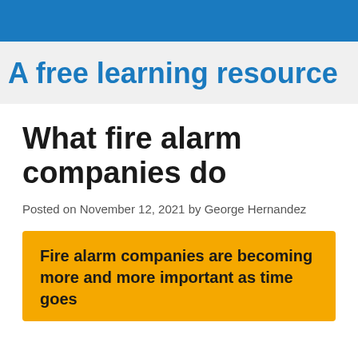A free learning resource
What fire alarm companies do
Posted on November 12, 2021 by George Hernandez
Fire alarm companies are becoming more and more important as time goes